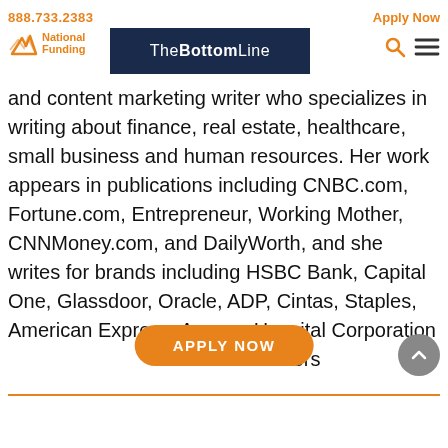888.733.2383   Apply Now   National Funding   TheBottomLine
and content marketing writer who specializes in writing about finance, real estate, healthcare, small business and human resources. Her work appears in publications including CNBC.com, Fortune.com, Entrepreneur, Working Mother, CNNMoney.com, and DailyWorth, and she writes for brands including HSBC Bank, Capital One, Glassdoor, Oracle, ADP, Cintas, Staples, American Express, Acorns, Hospital Corporation of America, and a number of others.